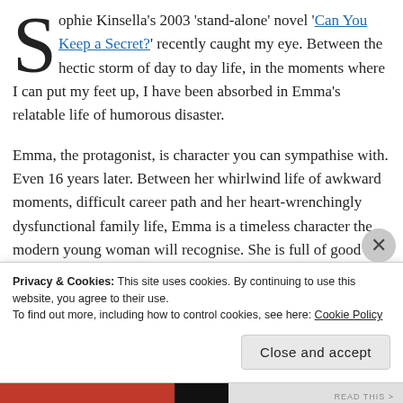Sophie Kinsella's 2003 'stand-alone' novel 'Can You Keep a Secret?' recently caught my eye. Between the hectic storm of day to day life, in the moments where I can put my feet up, I have been absorbed in Emma's relatable life of humorous disaster.
Emma, the protagonist, is character you can sympathise with. Even 16 years later. Between her whirlwind life of awkward moments, difficult career path and her heart-wrenchingly dysfunctional family life, Emma is a timeless character the modern young woman will recognise. She is full of good intentions that circumstance always seems to
Privacy & Cookies: This site uses cookies. By continuing to use this website, you agree to their use. To find out more, including how to control cookies, see here: Cookie Policy
Close and accept